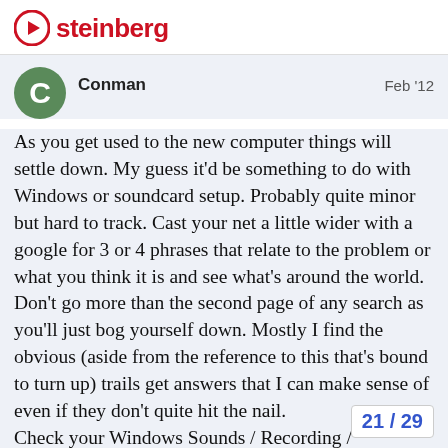steinberg
Conman   Feb '12
As you get used to the new computer things will settle down. My guess it'd be something to do with Windows or soundcard setup. Probably quite minor but hard to track. Cast your net a little wider with a google for 3 or 4 phrases that relate to the problem or what you think it is and see what's around the world. Don't go more than the second page of any search as you'll just bog yourself down. Mostly I find the obvious (aside from the reference to this that's bound to turn up) trails get answers that I can make sense of even if they don't quite hit the nail.
Check your Windows Sounds / Recording / Properties / Advanced and see if the sample rates ma       certain Windows updates or something h
21 / 29